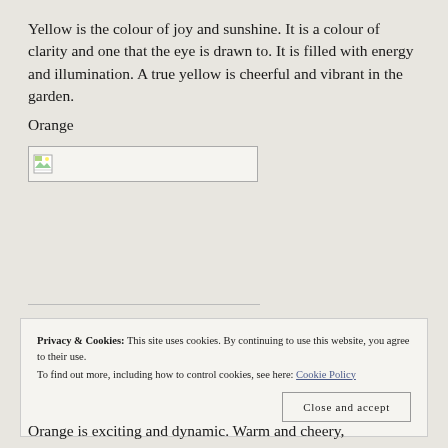Yellow is the colour of joy and sunshine. It is a colour of clarity and one that the eye is drawn to. It is filled with energy and illumination. A true yellow is cheerful and vibrant in the garden.
Orange
[Figure (photo): Broken image placeholder box with small image icon in top-left corner]
Privacy & Cookies: This site uses cookies. By continuing to use this website, you agree to their use.
To find out more, including how to control cookies, see here: Cookie Policy
[Close and accept button]
Orange is exciting and dynamic. Warm and cheery,